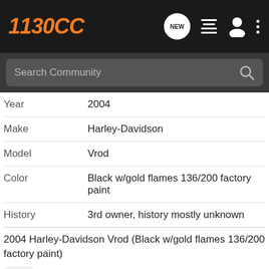1130CC
| Field | Value |
| --- | --- |
| Year | 2004 |
| Make | Harley-Davidson |
| Model | Vrod |
| Color | Black w/gold flames 136/200 factory paint |
| History | 3rd owner, history mostly unknown |
2004 Harley-Davidson Vrod (Black w/gold flames 136/200 factory paint)
Gallery